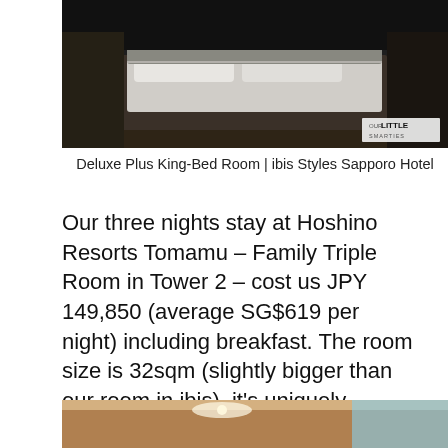[Figure (photo): Hotel room photo showing a king bed with gray/white bedding in a dark-toned room. OUR LITTLE SMARTIES watermark in bottom right.]
Deluxe Plus King-Bed Room | ibis Styles Sapporo Hotel
Our three nights stay at Hoshino Resorts Tomamu – Family Triple Room in Tower 2 – cost us JPY 149,850 (average SG$619 per night) including breakfast. The room size is 32sqm (slightly bigger than our room in ibis), it's uniquely designed with two futons and a bunk bed, a separated living area, and shower room with bathtub. This resort is definitely THE BEST we've every stayed. More in my next posts. 😀
[Figure (photo): Partial view of another hotel room with warm lighting and a window showing blue sky.]